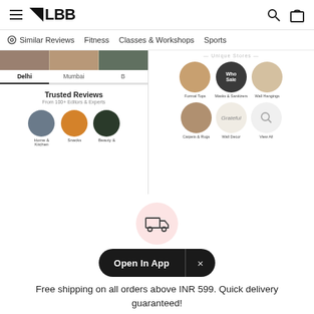LBB — header with hamburger menu, logo, search and bag icons
Similar Reviews   Fitness   Classes & Workshops   Sports
[Figure (screenshot): LBB app screenshot showing city tabs (Delhi, Mumbai), Trusted Reviews section with Home & Kitchen, Snacks, Beauty & categories, and a shop section with Formal Tops, Masks & Sanitizers, Wall Hangings, Carpets & Rugs, Wall Decor, View All]
[Figure (illustration): Pink circle with delivery truck icon]
Open In App  ×
Free shipping on all orders above INR 599. Quick delivery guaranteed!